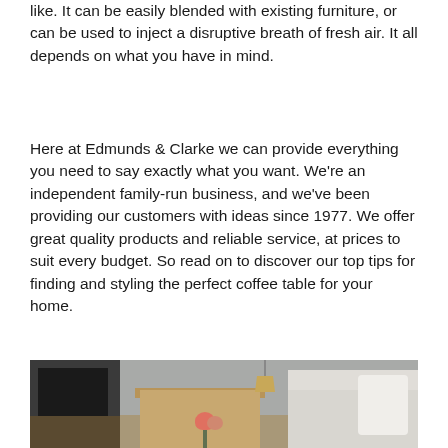like. It can be easily blended with existing furniture, or can be used to inject a disruptive breath of fresh air. It all depends on what you have in mind.
Here at Edmunds & Clarke we can provide everything you need to say exactly what you want. We're an independent family-run business, and we've been providing our customers with ideas since 1977. We offer great quality products and reliable service, at prices to suit every budget. So read on to discover our top tips for finding and styling the perfect coffee table for your home.
[Figure (photo): A living room scene showing a wooden coffee table in front of a light grey sofa with white cushions, flowers on the table, a dark TV unit on the left, and a hanging lamp in the background]